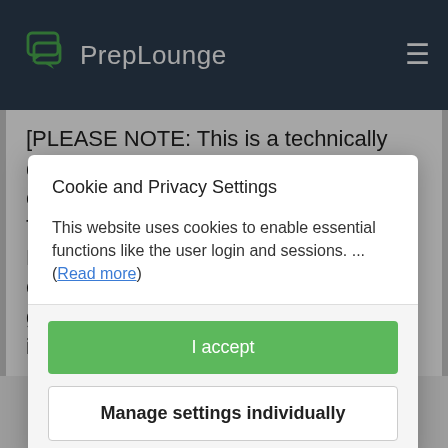PrepLounge
[PLEASE NOTE: This is a technically difficult case and should only be completed by those coming in as a Technology specialist, i.e. recruiting for McKinsey Digital, BCG Platinion, etc.]Our client is a multinational oil and gas company. While they are vertically integrated and have
Cookie and Privacy Settings
This website uses cookies to enable essential functions like the user login and sessions. ... (Read more)
I accept
Manage settings individually